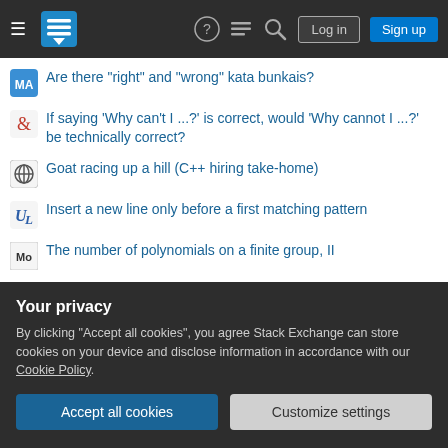[Figure (screenshot): Stack Exchange navigation bar with hamburger menu, logo, help icon, chat icon, search icon, Log in button, and Sign up button]
Are there "right" and "wrong" kata bunkais?
If saying 'Why can't I ...?' is correct, would 'Why cannot I ...?' be technically correct?
Goat racing up a hill (C++ hiring take-home)
Insert a new line only before a first matching pattern
The number of polynomials on a finite group, II
Is This an Equivalence Relation?
Multiple entry Short term Schengen visa valid for 5 days
Pullback of complex vector bundles along a retraction of compact Hausdorff spaces: a direct proof instead?
Your privacy
By clicking "Accept all cookies", you agree Stack Exchange can store cookies on your device and disclose information in accordance with our Cookie Policy.
Accept all cookies   Customize settings